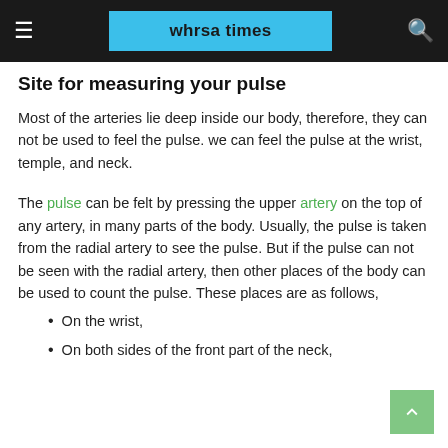whrsa times
Site for measuring your pulse
Most of the arteries lie deep inside our body, therefore, they can not be used to feel the pulse. we can feel the pulse at the wrist, temple, and neck.
The pulse can be felt by pressing the upper artery on the top of any artery, in many parts of the body. Usually, the pulse is taken from the radial artery to see the pulse. But if the pulse can not be seen with the radial artery, then other places of the body can be used to count the pulse. These places are as follows,
On the wrist,
On both sides of the front part of the neck,